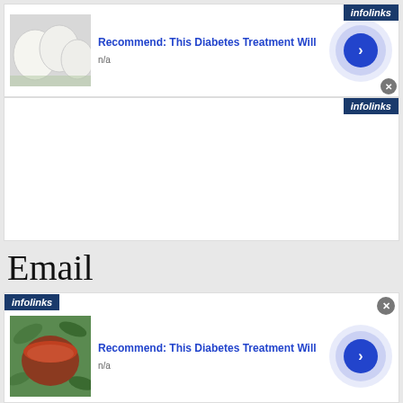[Figure (screenshot): Advertisement card: thumbnail of eggs, title 'Recommend: This Diabetes Treatment Will', n/a text, blue arrow button, infolinks badge top right, close button]
[Figure (screenshot): White content box area with infolinks badge top right]
Email
[Figure (screenshot): Advertisement card: infolinks badge top left, close button top right, thumbnail of red drink in bowl with green leaves, title 'Recommend: This Diabetes Treatment Will', n/a text, blue arrow button]